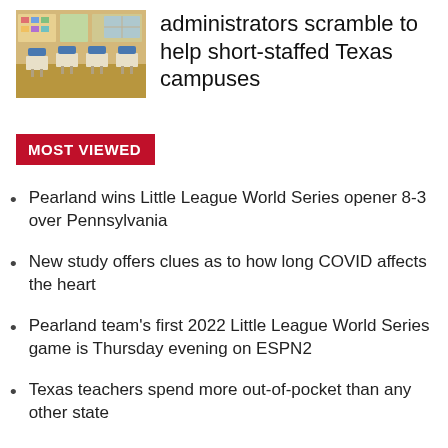[Figure (photo): Photo of an empty classroom with student desks and chairs, educational materials on walls in background]
administrators scramble to help short-staffed Texas campuses
MOST VIEWED
Pearland wins Little League World Series opener 8-3 over Pennsylvania
New study offers clues as to how long COVID affects the heart
Pearland team's first 2022 Little League World Series game is Thursday evening on ESPN2
Texas teachers spend more out-of-pocket than any other state